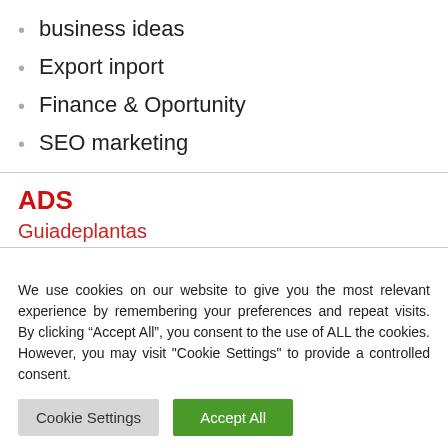business ideas
Export inport
Finance & Oportunity
SEO marketing
ADS
Guiadeplantas
We use cookies on our website to give you the most relevant experience by remembering your preferences and repeat visits. By clicking “Accept All”, you consent to the use of ALL the cookies. However, you may visit "Cookie Settings" to provide a controlled consent.